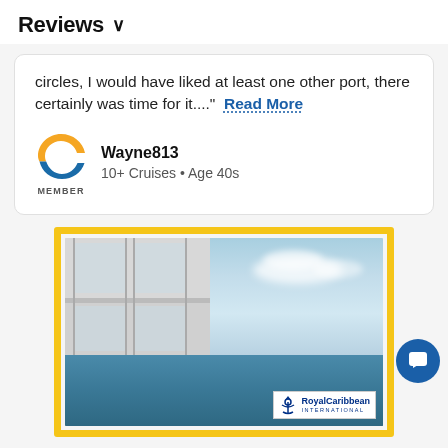Reviews ∨
circles, I would have liked at least one other port, there certainly was time for it...." Read More
Wayne813
10+ Cruises • Age 40s
[Figure (photo): Royal Caribbean cruise ship deck advertisement with yellow border, showing white ship balconies and railings against a blue sky and ocean, with Royal Caribbean International logo in bottom right corner.]